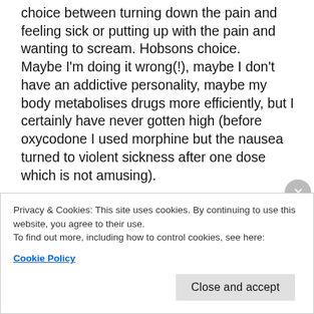choice between turning down the pain and feeling sick or putting up with the pain and wanting to scream. Hobsons choice.
Maybe I'm doing it wrong(!), maybe I don't have an addictive personality, maybe my body metabolises drugs more efficiently, but I certainly have never gotten high (before oxycodone I used morphine but the nausea turned to violent sickness after one dose which is not amusing).

Am I dependent on these drugs? Absolutely.  I have multiple joint damage, cervical and lumbar spine problems all from RA. Should I have to sit here in
Privacy & Cookies: This site uses cookies. By continuing to use this website, you agree to their use.
To find out more, including how to control cookies, see here:
Cookie Policy